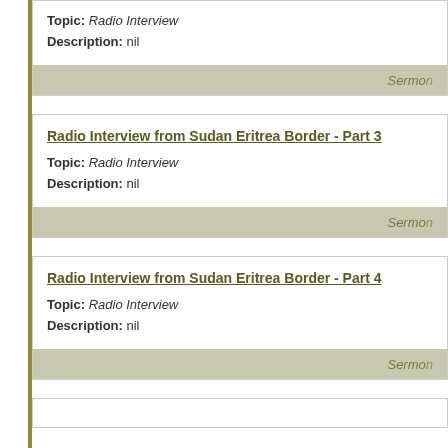Topic: Radio Interview
Description: nil
Sermon
Radio Interview from Sudan Eritrea Border - Part 3
Topic: Radio Interview
Description: nil
Sermon
Radio Interview from Sudan Eritrea Border - Part 4
Topic: Radio Interview
Description: nil
Sermon